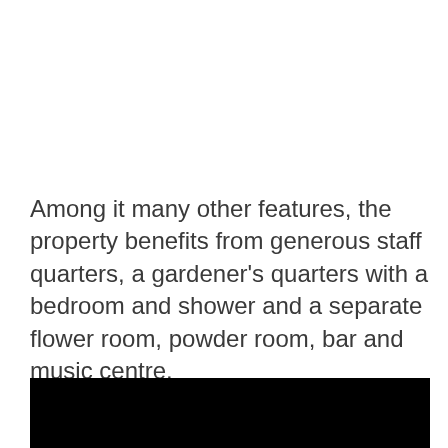Among it many other features, the property benefits from generous staff quarters, a gardener's quarters with a bedroom and shower and a separate flower room, powder room, bar and music centre.
[Figure (photo): A large black rectangular image/photo taking up the bottom portion of the page.]